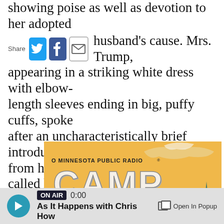showing poise as well as devotion to her adopted husband's cause. Mrs. Trump, appearing in a striking white dress with elbow-length sleeves ending in big, puffy cuffs, spoke after an uncharacteristically brief introduction from her husband, who kissed her and called her "my wife, an amazing mother, an incredible woman."
[Figure (illustration): Camp MPR advertisement for Minnesota Public Radio. Orange/yellow background with illustrated pine trees. Text reads: 'O MINNESOTA PUBLIC RADIO® CAMP MPR Join us around the campfire at the Great Minnesota Get-Together!']
ON AIR 0:00 As It Happens with Chris How  Open In Popup